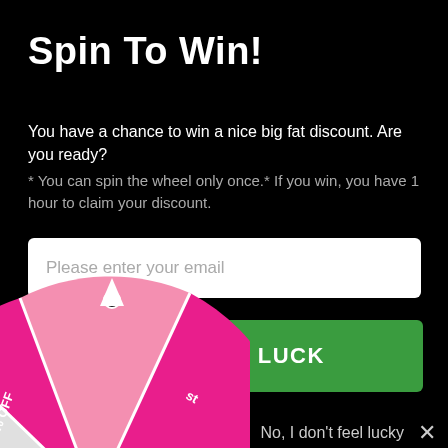Spin To Win!
You have a chance to win a nice big fat discount. Are you ready?
* You can spin the wheel only once.* If you win, you have 1 hour to claim your discount.
Please enter your email
TRY YOUR LUCK
No, I don't feel lucky
[Figure (illustration): Partial view of a pink and white spin wheel visible at the bottom-left corner of the page, with text segments '% OFF' and 'st' partially visible.]